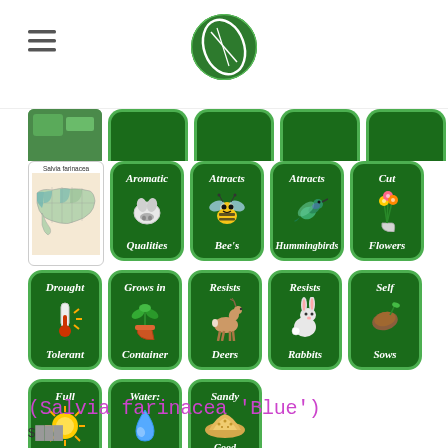Navigation header with logo
[Figure (infographic): Row of partially visible green badge cards at top]
[Figure (infographic): Row of green badge cards: US map (Salvia farinacea), Aromatic Qualities, Attracts Bee's, Attracts Hummingbirds, Cut Flowers]
[Figure (infographic): Row of green badge cards: Drought Tolerant, Grows in Container, Resists Deers, Resists Rabbits, Self Sows]
[Figure (infographic): Row of green badge cards: Full Sun, Water: Low, Sandy Good Drainage]
(Salvia farinacea 'Blue')
Price information